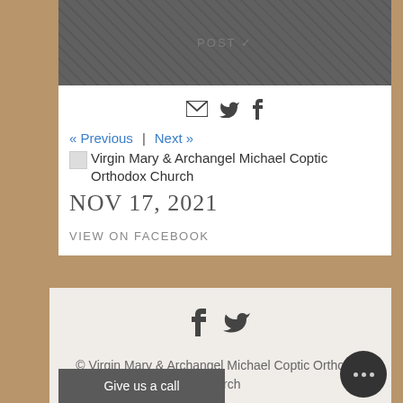[Figure (photo): Dark grey textured image area at top of card with POST text watermark]
[Figure (infographic): Share icons row: email envelope, Twitter bird, Facebook f]
« Previous  |  Next »
Virgin Mary & Archangel Michael Coptic Orthodox Church
Nov 17, 2021
View On Facebook
[Figure (infographic): Footer social icons: Facebook f and Twitter bird]
© Virgin Mary & Archangel Michael Coptic Orthodox Church
Terms & Conditions  |  Privacy Policy
Give us a call